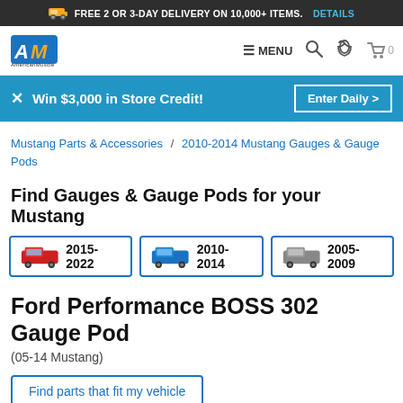FREE 2 OR 3-DAY DELIVERY ON 10,000+ ITEMS. DETAILS
[Figure (logo): AmericanMuscle logo with AM letters in orange/blue and text below]
≡ MENU 🔍 📞 🛒 0
✕ Win $3,000 in Store Credit! | Enter Daily >
Mustang Parts & Accessories / 2010-2014 Mustang Gauges & Gauge Pods
Find Gauges & Gauge Pods for your Mustang
[Figure (other): Three car year selector buttons: 2015-2022 red Mustang, 2010-2014 blue Mustang, 2005-2009 gray Mustang]
Ford Performance BOSS 302 Gauge Pod
(05-14 Mustang)
Find parts that fit my vehicle
Our Price $157.57